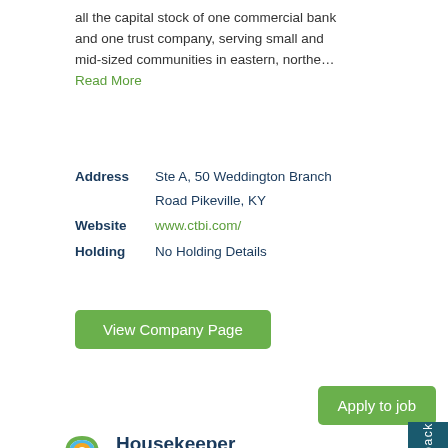all the capital stock of one commercial bank and one trust company, serving small and mid-sized communities in eastern, northe... Read More
Address: Ste A, 50 Weddington Branch Road Pikeville, KY
Website: www.ctbi.com/
Holding: No Holding Details
View Company Page
Apply to job
Housekeeper
Job Skills/Requirements
SECTION I. JOB RESPONSIBILITIES 1. Perform general cleaning duties each night: dust, vacuum, clean rest rooms, pick up garbage and things to be shredded. 2. Perform other cleaning duties as needed: sweep ceilings, wash walls, doors, baseboards, and windowsills, etc. 3. Maintain accurate inventory and replenish cleaning supplies and paper products in rest rooms. 4. Perform other duties as assigned. SECTION II.
SKILLS/KNOWLEDGE AND ABILITIES/EXPERIENCE